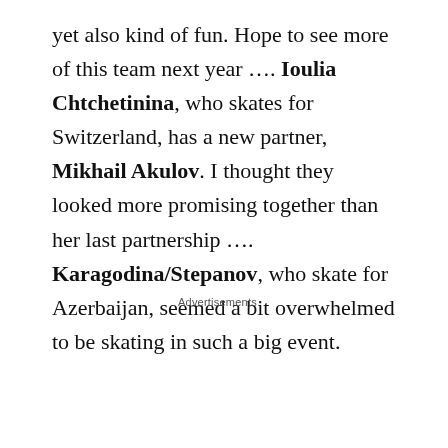yet also kind of fun. Hope to see more of this team next year …. Ioulia Chtchetinina, who skates for Switzerland, has a new partner, Mikhail Akulov. I thought they looked more promising together than her last partnership …. Karagodina/Stepanov, who skate for Azerbaijan, seemed a bit overwhelmed to be skating in such a big event.
Advertisements
[Figure (other): Advertisement banner with two sections: top section on light beige background reading 'Business in the front...' in bold serif text; bottom section on orange-pink gradient background with decorative circles reading 'WordPress in the back.' in bold serif text.]